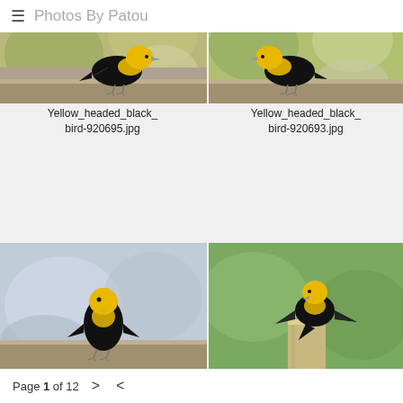≡ Photos By Patou
[Figure (photo): Yellow-headed blackbird perched on wooden rail, facing right, yellow head and black body, blurred background with cars and trees]
[Figure (photo): Yellow-headed blackbird perched on wooden rail, facing left, yellow head and black body, blurred background]
Yellow_headed_black_bird-920695.jpg
Yellow_headed_black_bird-920693.jpg
[Figure (photo): Yellow-headed blackbird standing on wooden ledge, facing viewer, yellow head and black body, blurred car background]
[Figure (photo): Yellow-headed blackbird perched on wooden post with wings spread, yellow head and black body, green background]
Yellow_headed_black_bird-...
Yellow_headed_black_bird-920827.tif
Page 1 of 12  >  <